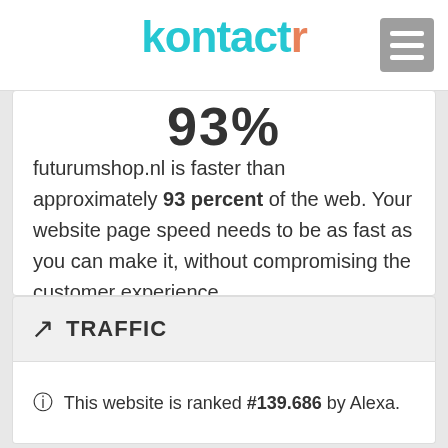kontactr
93%
futurumshop.nl is faster than approximately 93 percent of the web. Your website page speed needs to be as fast as you can make it, without compromising the customer experience.

A good goal to achieve is a loading time of 2 seconds on desktop and mobile devices.
TRAFFIC
ⓘ This website is ranked #139.686 by Alexa.